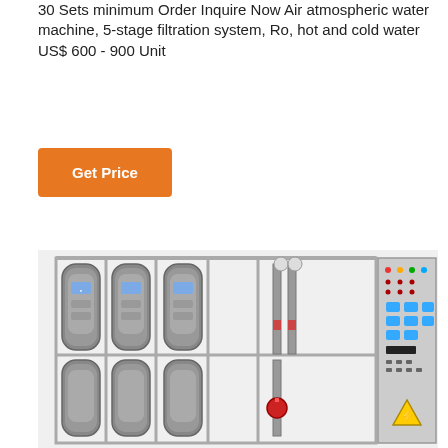30 Sets minimum Order Inquire Now Air atmospheric water machine, 5-stage filtration system, Ro, hot and cold water US$ 600 - 900 Unit
[Figure (other): Orange 'Get Price' button]
[Figure (photo): Industrial atmospheric water generation machine with 5-stage filtration system in a metal frame, showing multiple grey filter units, pipes, and a control panel with switches and indicators on the right side.]